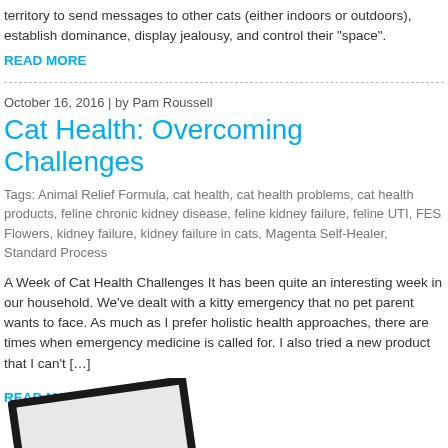territory to send messages to other cats (either indoors or outdoors), establish dominance, display jealousy, and control their "space".
READ MORE
October 16, 2016 | by Pam Roussell
Cat Health: Overcoming Challenges
Tags: Animal Relief Formula, cat health, cat health problems, cat health products, feline chronic kidney disease, feline kidney failure, feline UTI, FES Flowers, kidney failure, kidney failure in cats, Magenta Self-Healer, Standard Process
A Week of Cat Health Challenges It has been quite an interesting week in our household. We've dealt with a kitty emergency that no pet parent wants to face.  As much as I prefer holistic health approaches, there are times when emergency medicine is called for.  I also tried a new product that I can't […]
READ MORE
[Figure (photo): Partial view of a framed photo visible at the bottom-left corner of the page, showing a dark wooden frame with a light-colored image inside, rotated slightly.]